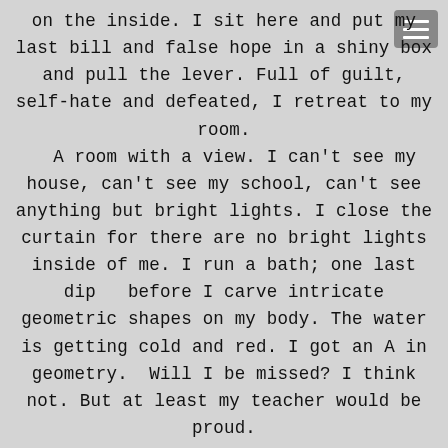on the inside. I sit here and put my last bill and false hope in a shiny box and pull the lever. Full of guilt, self-hate and defeated, I retreat to my room. A room with a view. I can't see my house, can't see my school, can't see anything but bright lights. I close the curtain for there are no bright lights inside of me. I run a bath; one last dip before I carve intricate geometric shapes on my body. The water is getting cold and red. I got an A in geometry. Will I be missed? I think not. But at least my teacher would be proud.